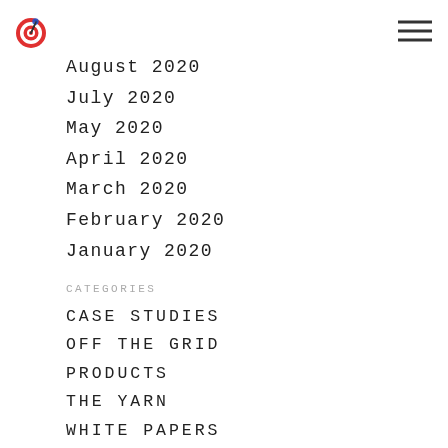Logo and navigation menu icon
August 2020
July 2020
May 2020
April 2020
March 2020
February 2020
January 2020
CATEGORIES
CASE STUDIES
OFF THE GRID
PRODUCTS
THE YARN
WHITE PAPERS